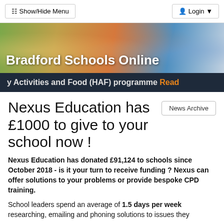Show/Hide Menu   Login
[Figure (photo): Bradford Schools Online hero banner with children and school building]
Bradford Schools Online
y Activities and Food (HAF) programme Read
Nexus Education has £1000 to give to your school now !
Nexus Education has donated £91,124 to schools since October 2018 - is it your turn to receive funding ? Nexus can offer solutions to your problems or provide bespoke CPD training.
School leaders spend an average of 1.5 days per week researching, emailing and phoning solutions to issues they